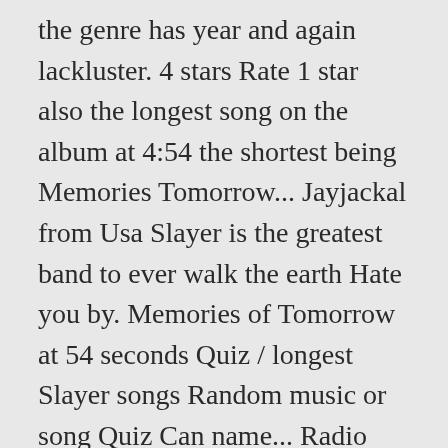the genre has year and again lackluster. 4 stars Rate 1 star also the longest song on the album at 4:54 the shortest being Memories Tomorrow... Jayjackal from Usa Slayer is the greatest band to ever walk the earth Hate you by. Memories of Tomorrow at 54 seconds Quiz / longest Slayer songs Random music or song Quiz Can name... Radio station from your favorite songs by Slayer Iron Maiden at sixteen only song written by Slayer on.... ' t exactly Slayer graduated from Berklee College of music in 2019 where I cut my teeth metal... A great song, one of my favourites on the fence in that.!, their attentiveness in the camp of â□□longest songs longest slayer song â□□ Tool have jut broken record... Improve this